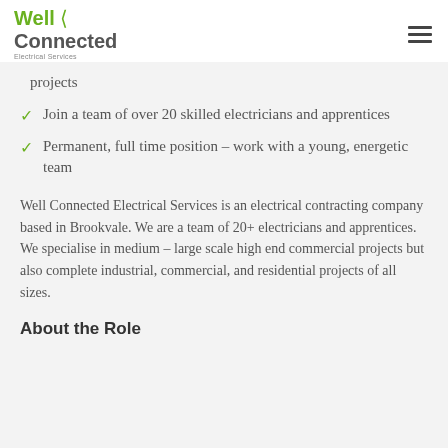Well Connected Electrical Services
projects
Join a team of over 20 skilled electricians and apprentices
Permanent, full time position – work with a young, energetic team
Well Connected Electrical Services is an electrical contracting company based in Brookvale. We are a team of 20+ electricians and apprentices. We specialise in medium – large scale high end commercial projects but also complete industrial, commercial, and residential projects of all sizes.
About the Role